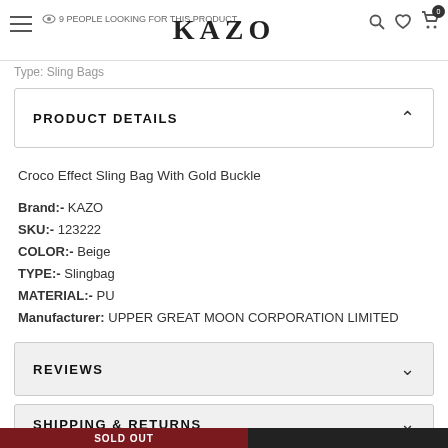9 PEOPLE LOOKING FOR THIS PRODUCT — KAZO
Type: Sling Bags
PRODUCT DETAILS
Croco Effect Sling Bag With Gold Buckle
Brand:- KAZO
SKU:- 123222
COLOR:- Beige
TYPE:- Slingbag
MATERIAL:- PU
Manufacturer: UPPER GREAT MOON CORPORATION LIMITED
REVIEWS
SHIPPING & RETURNS